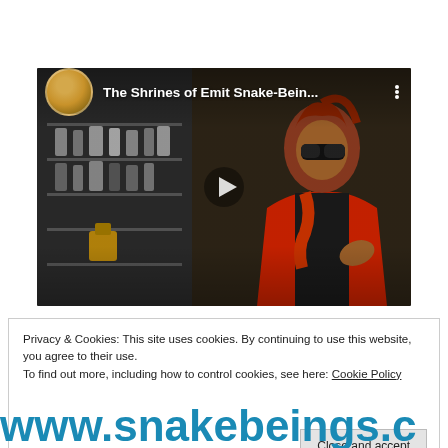[Figure (screenshot): YouTube-style video player showing a person in a red jacket and sunglasses with curly hair, standing in front of a display case. Video title reads 'The Shrines of Emit Snake-Bein...' with a circular thumbnail on the left and three vertical dots on the right. A play button triangle is centered in the frame.]
Privacy & Cookies: This site uses cookies. By continuing to use this website, you agree to their use.
To find out more, including how to control cookies, see here: Cookie Policy
Close and accept
www.snakebeings.c